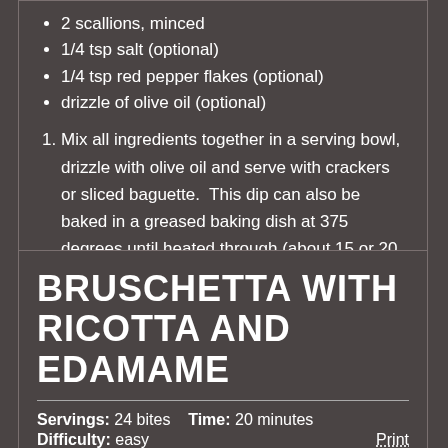2 scallions, minced
1/4 tsp salt (optional)
1/4 tsp red pepper flakes (optional)
drizzle of olive oil (optional)
1. Mix all ingredients together in a serving bowl, drizzle with olive oil and serve with crackers or sliced baguette.  This dip can also be baked in a greased baking dish at 375 degrees until heated through (about 15 or 20 minutes). Drizzle before serving.
BRUSCHETTA WITH RICOTTA AND EDAMAME
Servings: 24 bites   Time: 20 minutes   Difficulty: easy